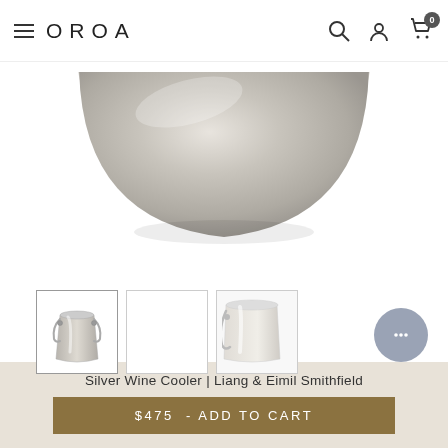OROA
[Figure (photo): Partial view of a silver wine cooler/ice bucket shown from above, metallic finish, displayed on white background]
[Figure (photo): Three product thumbnail images: first shows a silver wine cooler bucket with handles (active/selected), second is blank/white, third shows a partial view of the wine cooler]
Silver Wine Cooler | Liang & Eimil Smithfield
$475  - ADD TO CART